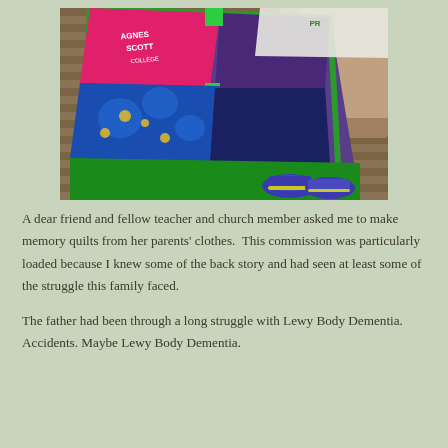[Figure (photo): A colorful patchwork memory quilt draped over a person seated in a chair on a wooden deck. The quilt features sections of pink with 'Agnes Scott College' text, purple, blue with floral pattern, and green binding. The person's blue and yellow sneakers are visible beneath the quilt.]
A dear friend and fellow teacher and church member asked me to make memory quilts from her parents' clothes.  This commission was particularly loaded because I knew some of the back story and had seen at least some of the struggle this family faced.
The father had been through a long struggle with Lewy Body Dementia. Accidents. Maybe Lewy Body Dementia.